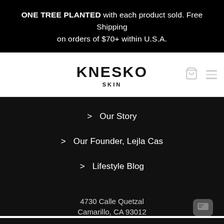ONE TREE PLANTED with each product sold. Free Shipping on orders of $70+ within U.S.A.
[Figure (logo): Knesko Skin logo — bold text KNESKO with SKIN subtitle]
> Our Story
> Our Founder, Lejla Cas
> Lifestyle Blog
4730 Calle Quetzal
Camarillo, CA 93012